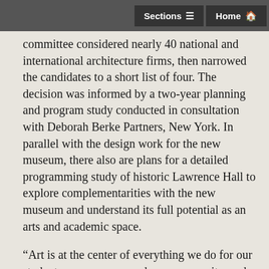Sections  Home
committee considered nearly 40 national and international architecture firms, then narrowed the candidates to a short list of four. The decision was informed by a two-year planning and program study conducted in consultation with Deborah Berke Partners, New York. In parallel with the design work for the new museum, there also are plans for a detailed programming study of historic Lawrence Hall to explore complementarities with the new museum and understand its full potential as an arts and academic space.

“Art is at the center of everything we do for our students, our campus, and our community, and so building a new home for Williams College Museum of Art is a focal point of the College’s strategic plan,” said Mandel. “While the caliber and creativity of all the shortlisted candidates